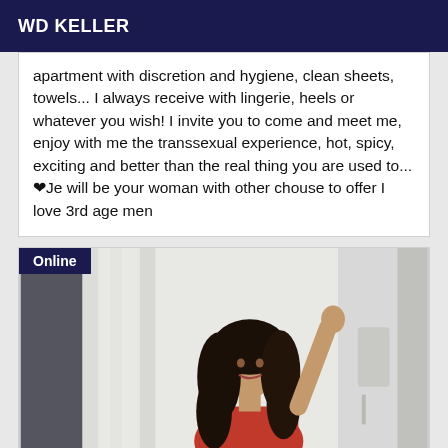WD KELLER
apartment with discretion and hygiene, clean sheets, towels... I always receive with lingerie, heels or whatever you wish! I invite you to come and meet me, enjoy with me the transsexual experience, hot, spicy, exciting and better than the real thing you are used to... ♥Je will be your woman with other chouse to offer I love 3rd age men
[Figure (photo): Woman with long dark curly hair wearing red outfit, photographed indoors near white curtains and a wall-mounted device. An 'Online' badge appears in the top-left corner.]